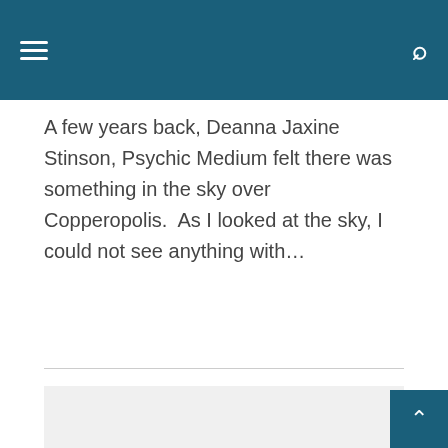Navigation header with hamburger menu and search icon
A few years back, Deanna Jaxine Stinson, Psychic Medium felt there was something in the sky over Copperopolis.  As I looked at the sky, I could not see anything with…
[Figure (other): Gray advertisement placeholder block]
[Figure (other): Back to top button with upward arrow, dark teal background]